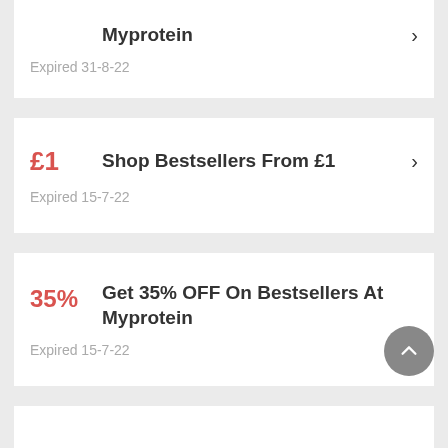Myprotein
Expired 31-8-22
£1  Shop Bestsellers From £1
Expired 15-7-22
35%  Get 35% OFF On Bestsellers At Myprotein
Expired 15-7-22